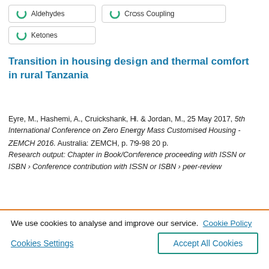Aldehydes
Cross Coupling
Ketones
Transition in housing design and thermal comfort in rural Tanzania
Eyre, M., Hashemi, A., Cruickshank, H. & Jordan, M., 25 May 2017, 5th International Conference on Zero Energy Mass Customised Housing - ZEMCH 2016. Australia: ZEMCH, p. 79-98 20 p.
Research output: Chapter in Book/Conference proceeding with ISSN or ISBN › Conference contribution with ISSN or ISBN › peer-review
We use cookies to analyse and improve our service. Cookie Policy
Cookies Settings
Accept All Cookies